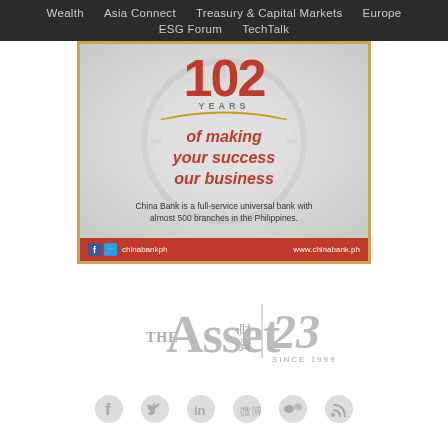Wealth   Asia Connect   Treasury & Capital Markets   Europe   ESG Forum   TechTalk
[Figure (illustration): China Bank advertisement: 102 years of making your success our business. China Bank is a full-service universal bank with almost 500 branches in the Philippines. Red footer with social media handle chinabankph and website www.chinabank.ph]
[Figure (logo): The Asset 财资 magazine logo with 23 years since 1999 mark]
[Figure (illustration): Row of social media icons: Facebook, Twitter, LinkedIn, Weibo, WeChat, RSS]